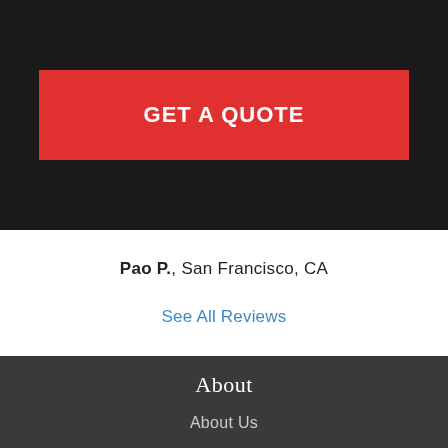GET A QUOTE
Pao P., San Francisco, CA
See All Reviews
About
About Us